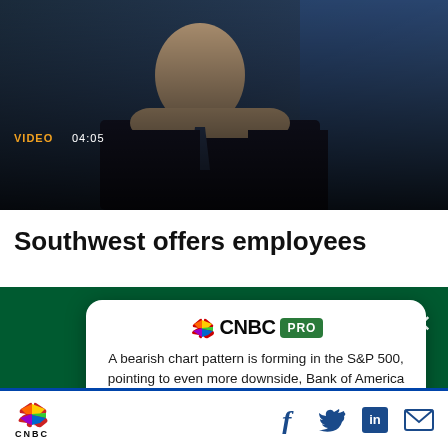[Figure (screenshot): CNBC video thumbnail showing a man in a suit with overlaid text: VIDEO 04:05 and article title]
VIDEO 04:05
Gottlieb: No question protests will lead to chains of transmission of Covid-19
Southwest offers employees
[Figure (screenshot): CNBC PRO subscription modal overlay with text about S&P 500 bearish chart pattern and a Subscribe Now button]
A bearish chart pattern is forming in the S&P 500, pointing to even more downside, Bank of America says
SUBSCRIBE NOW
[Figure (logo): CNBC peacock logo and wordmark in bottom bar with social media icons (Facebook, Twitter, LinkedIn, Email)]